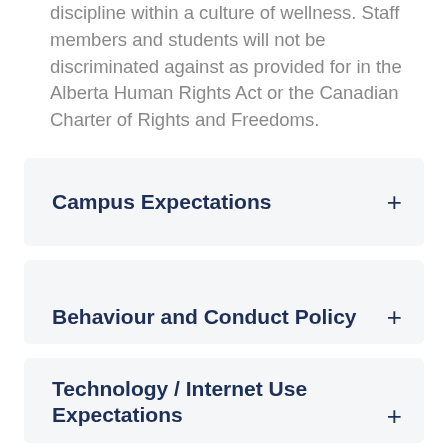discipline within a culture of wellness. Staff members and students will not be discriminated against as provided for in the Alberta Human Rights Act or the Canadian Charter of Rights and Freedoms.
Campus Expectations
Behaviour and Conduct Policy
Technology / Internet Use Expectations